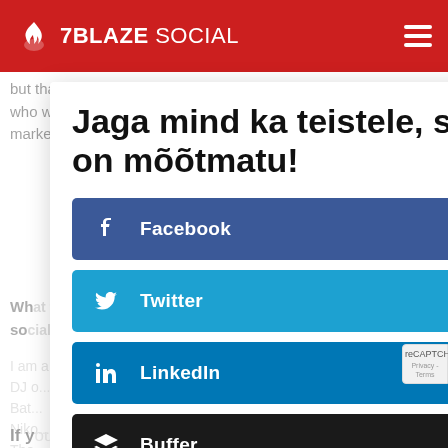7BLAZE SOCIAL
but that honor belongs to the ridiculously talented Daniel Sauva who was the mastermind behind most of the TransferWise marketing stunts.
[Figure (screenshot): Social sharing modal dialog with title 'Jaga mind ka teistele, sest jagatud rõõm on mõõtmatu!' and share buttons for Facebook, Twitter, LinkedIn, and Buffer]
If y...